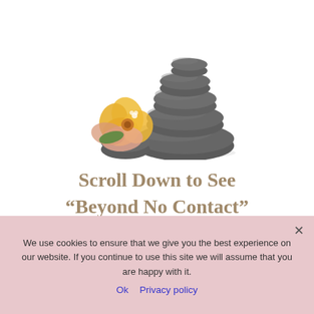[Figure (photo): Stacked dark zen stones with a yellow and peach flower beside them on white background]
Scroll Down to See “Beyond No Contact” Articles
We use cookies to ensure that we give you the best experience on our website. If you continue to use this site we will assume that you are happy with it.
Ok   Privacy policy